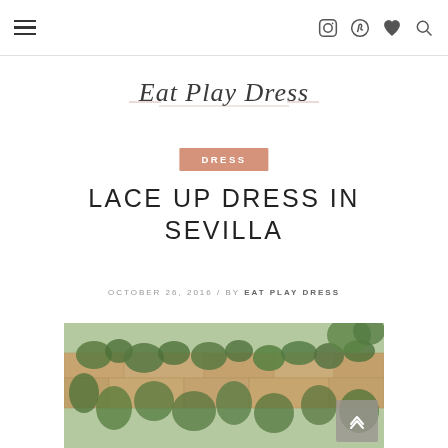Navigation bar with hamburger menu and social icons (Instagram, Pinterest, heart, search)
Eat Play Dress
DRESS
LACE UP DRESS IN SEVILLA
OCTOBER 26, 2016 / BY EAT PLAY DRESS
[Figure (photo): Stone wall covered with green ivy vines, outdoor setting in Sevilla]